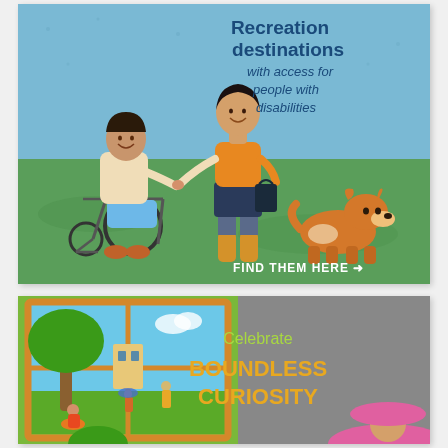[Figure (illustration): Top card: Illustration of a person in a wheelchair holding hands with a standing person in an orange sweater, a corgi dog nearby, on green and blue background. Text reads 'Recreation destinations with access for people with disabilities. FIND THEM HERE →']
[Figure (illustration): Bottom card: Illustration of a park scene viewed through a window frame on a grey background, with trees and people. Text reads 'Celebrate BOUNDLESS CURIOSITY']